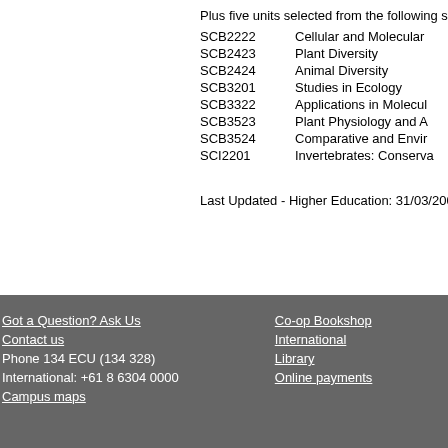Plus five units selected from the following se
SCB2222    Cellular and Molecular
SCB2423    Plant Diversity
SCB2424    Animal Diversity
SCB3201    Studies in Ecology
SCB3322    Applications in Molecul
SCB3523    Plant Physiology and A
SCB3524    Comparative and Envir
SCI2201    Invertebrates: Conserva
Last Updated - Higher Education: 31/03/2008 VET: 31/
Got a Question? Ask Us | Contact us | Phone 134 ECU (134 328) | International: +61 8 6304 0000 | Campus maps | Co-op Bookshop | International | Library | Online payments